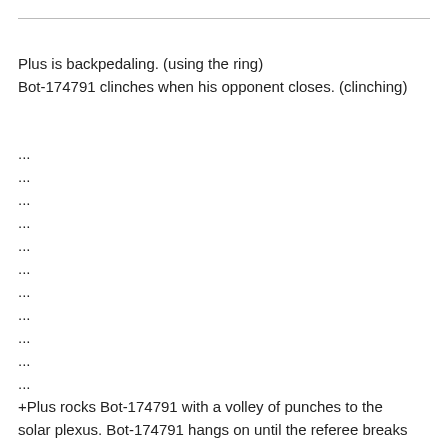Plus is backpedaling. (using the ring)
Bot-174791 clinches when his opponent closes. (clinching)
...
...
...
...
...
...
...
...
...
...
...
+Plus rocks Bot-174791 with a volley of punches to the solar plexus. Bot-174791 hangs on until the referee breaks